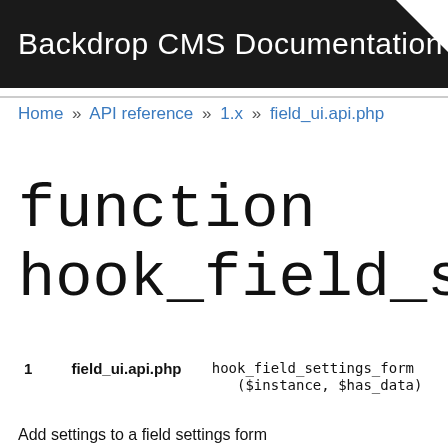Backdrop CMS Documentation
Home » API reference » 1.x » field_ui.api.php
function hook_field_settings_form
| 1 | field_ui.api.php | hook_field_settings_form($instance, $has_data) |
Add settings to a field settings form